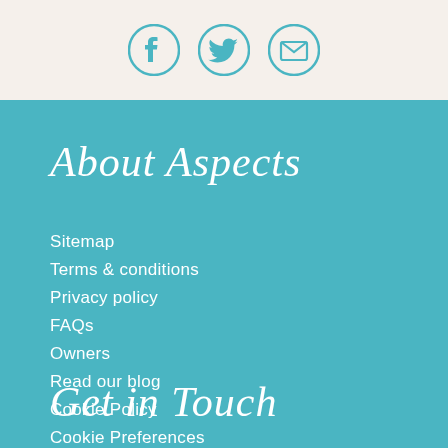[Figure (illustration): Three circular social media icons: Facebook, Twitter, and email/mail, rendered in teal/dark outline style on cream background]
About Aspects
Sitemap
Terms & conditions
Privacy policy
FAQs
Owners
Read our blog
Cookie Policy
Cookie Preferences
Get in Touch